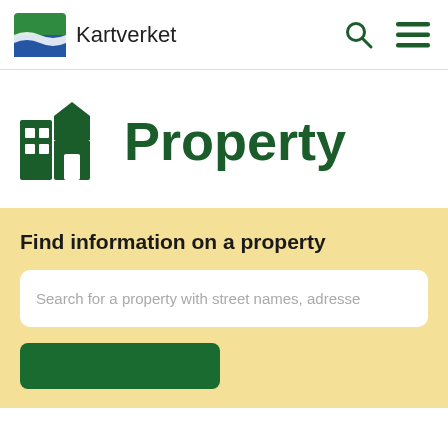Kartverket
Property
Find information on a property
Search for a property with street names, adresse